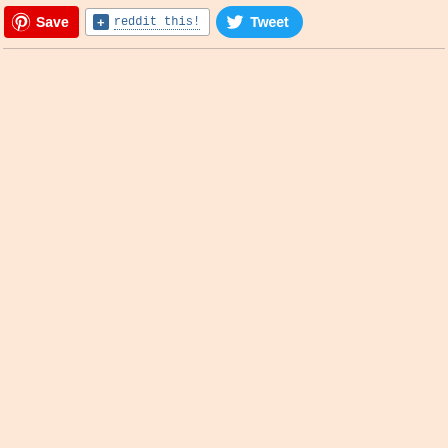[Figure (screenshot): Social sharing toolbar with three buttons: Pinterest Save button (red), Reddit This button (white/blue), and Tweet button (blue). Below is a horizontal divider line, and then a large peach/salmon colored empty area.]